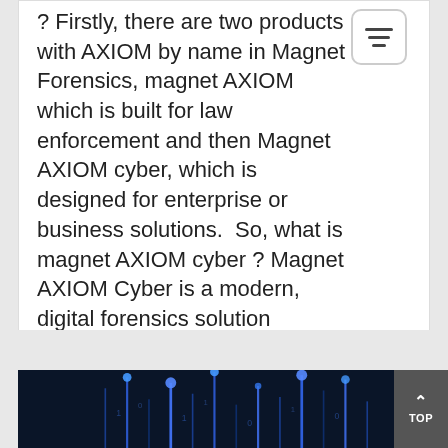? Firstly, there are two products with AXIOM by name in Magnet Forensics, magnet AXIOM which is built for law enforcement and then Magnet AXIOM cyber, which is designed for enterprise or business solutions.  So, what is magnet AXIOM cyber ? Magnet AXIOM Cyber is a modern, digital forensics solution
DIGITAL FORENSICS, DIGITAL INVESTIGATION, MAGNET, MAGNET AXIOM CYBER,
[Figure (photo): Dark blue digital/cybersecurity background with glowing blue vertical lines and binary/data visualization elements, partially visible at bottom of page.]